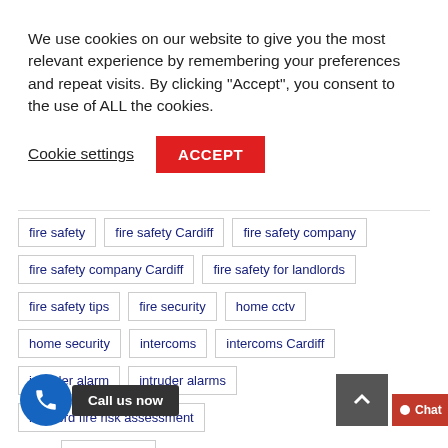We use cookies on our website to give you the most relevant experience by remembering your preferences and repeat visits. By clicking “Accept”, you consent to the use of ALL the cookies.
Cookie settings
ACCEPT
fire safety
fire safety Cardiff
fire safety company
fire safety company Cardiff
fire safety for landlords
fire safety tips
fire security
home cctv
home security
intercoms
intercoms Cardiff
intruder alarm
intruder alarms
landlord fire risk assessment
Call us now
security company cardiff
texecom burglar alarm